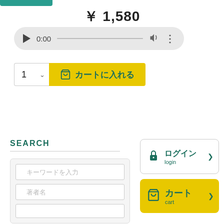[Figure (screenshot): Teal navigation bar at top left]
￥ 1,580
[Figure (screenshot): Audio player widget showing 0:00 timestamp with play, volume and more controls]
[Figure (screenshot): Quantity selector showing 1 with dropdown chevron and yellow add-to-cart button with cart icon and text カートに入れる]
SEARCH
[Figure (screenshot): Search input fields area with two text input boxes for search keywords]
[Figure (screenshot): Login button box with lock icon, ログイン / login text and chevron]
[Figure (screenshot): Yellow cart button with cart icon, カート / cart text and chevron]